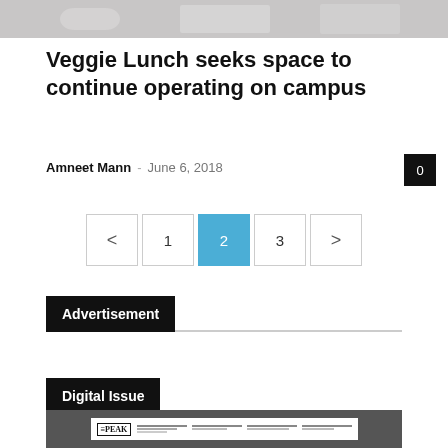[Figure (photo): Top portion of a photo showing people in a cafeteria or food service setting]
Veggie Lunch seeks space to continue operating on campus
Amneet Mann  -  June 6, 2018
[Figure (other): Pagination controls showing < 1 2 3 > with page 2 highlighted in blue]
Advertisement
Digital Issue
[Figure (screenshot): Preview of The Peak digital issue newspaper front page]